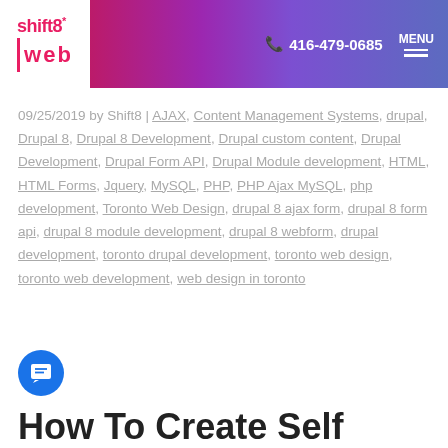[Figure (logo): Shift8 Web logo - white box with pink/red shift8 and web text, on gradient pink-to-purple-to-blue header background]
📞 416-479-0685  MENU
09/25/2019 by Shift8 | AJAX, Content Management Systems, drupal, Drupal 8, Drupal 8 Development, Drupal custom content, Drupal Development, Drupal Form API, Drupal Module development, HTML, HTML Forms, Jquery, MySQL, PHP, PHP Ajax MySQL, php development, Toronto Web Design, drupal 8 ajax form, drupal 8 form api, drupal 8 module development, drupal 8 webform, drupal development, toronto drupal development, toronto web design, toronto web development, web design in toronto
How To Create Self